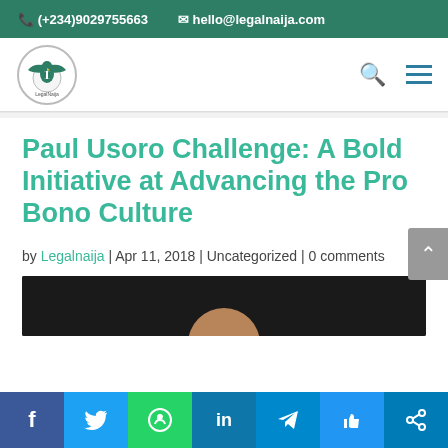(+234)9029755663   hello@legalnaija.com
[Figure (logo): LegalNaija circular logo with Nigerian eagle emblem]
Paul Usoro Challenge: A Bold Initiative at Advancing the Pro Bono Culture
by Legalnaija | Apr 11, 2018 | Uncategorized | 0 comments
[Figure (photo): Dark background photo showing top of a person's head/face]
Social share bar: Facebook, Twitter, WhatsApp, LinkedIn, Telegram, Like, Share